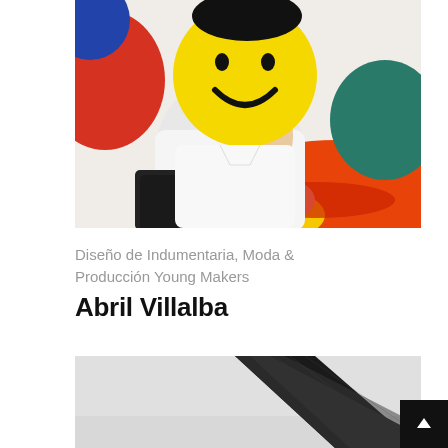[Figure (photo): Person wearing a white t-shirt holding a large yellow smiley face plush/pillow in front of their face, lying on a colorful patterned rug/blanket with orange, red, pink, teal and yellow designs. Person is also wearing black pants.]
Diseño de Indumentaria, Moda & Producción Young Makers
Abril Villalba
[Figure (photo): Partial black and white photo showing a dark textured surface or material, cropped.]